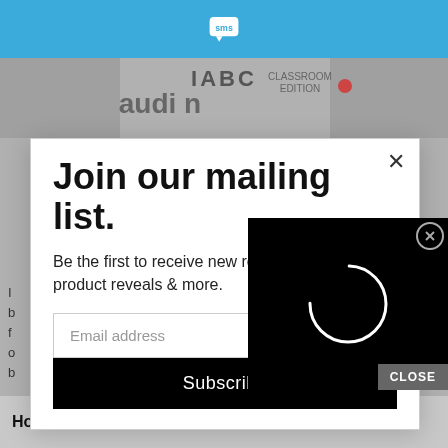[Figure (screenshot): Screenshot of a webpage with a blue top bar containing an SMS logo icon, a gray background with a partial IABC Classroom Edition image, a modal popup dialog, and a loading video overlay.]
Join our mailing list.
Be the first to receive new recipes, sneak peaks, product reveals & more.
Email address
Subscribe
How about some FREE coupons?